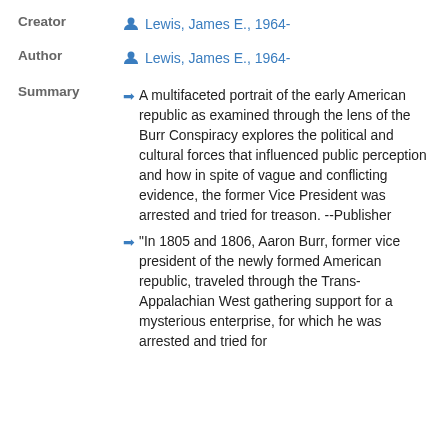Creator
Lewis, James E., 1964-
Author
Lewis, James E., 1964-
Summary
A multifaceted portrait of the early American republic as examined through the lens of the Burr Conspiracy explores the political and cultural forces that influenced public perception and how in spite of vague and conflicting evidence, the former Vice President was arrested and tried for treason. --Publisher
"In 1805 and 1806, Aaron Burr, former vice president of the newly formed American republic, traveled through the Trans-Appalachian West gathering support for a mysterious enterprise, for which he was arrested and tried for